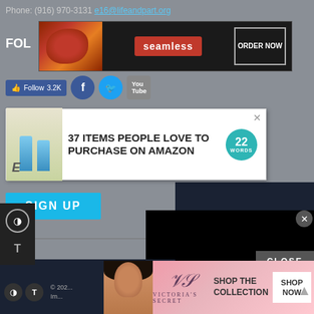Phone: (916) 970-3131 [email link]
[Figure (screenshot): Seamless food delivery advertisement banner with pizza image, seamless logo in red, and ORDER NOW button]
FOL
[Figure (screenshot): Social media follow bar: Facebook Follow 3.2K button, Facebook icon, Twitter icon, YouTube icon]
[Figure (advertisement): 37 ITEMS PEOPLE LOVE TO PURCHASE ON AMAZON - 22 Words advertisement with product bottles image and close button]
[Figure (screenshot): SIGN UP button in cyan/blue]
SEARCH THE SITE
[Figure (screenshot): Google search box with ENHANCED BY Google text]
[Figure (screenshot): CLOSE button overlay]
[Figure (advertisement): Victoria's Secret advertisement: SHOP THE COLLECTION with SHOP NOW button, model photo, VS monogram logo on pink background]